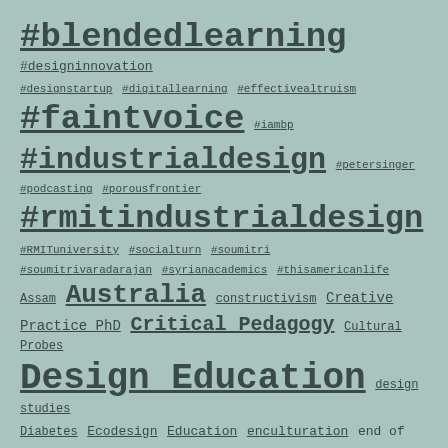[Figure (infographic): Tag cloud with hashtags and topic keywords of varying sizes on a muted teal/green background, including terms like #blendedlearning, #industrialdesign, #rmitindustrialdesign, Design Education, Australia, Critical Pedagogy, etc.]